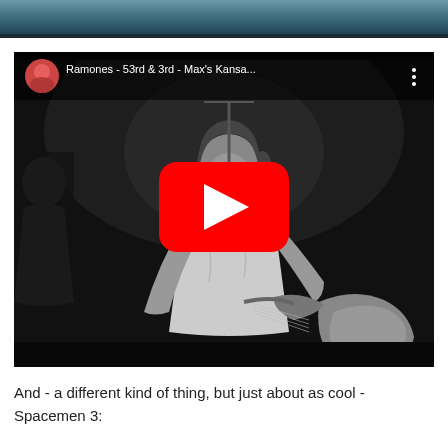[Figure (screenshot): Top portion of a cropped image, showing a teal/blue gradient strip at the top of the page]
[Figure (screenshot): YouTube video embed showing a black and white photo of a Ramones bassist performing on stage with a guitar. The video title reads 'Ramones - 53rd & 3rd - Max's Kansa...' with a circular channel avatar thumbnail in the top left and a three-dot menu icon in the top right. A red YouTube play button is centered over the video.]
And - a different kind of thing, but just about as cool - Spacemen 3: